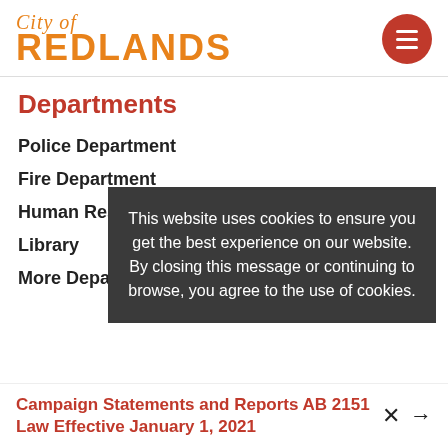[Figure (logo): City of Redlands logo with cursive 'City of' above bold 'REDLANDS' in orange, and a red circular hamburger menu button on the right]
Departments
Police Department
Fire Department
Human Resources
Library
More Departments
This website uses cookies to ensure you get the best experience on our website. By closing this message or continuing to browse, you agree to the use of cookies.
Campaign Statements and Reports AB 2151  Law Effective January 1, 2021